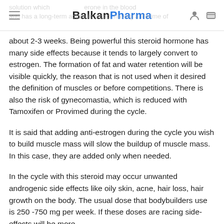BalkanPharma
solution which ... sterone in the blood and has a long-term action in blood, having a lifetime of about 2-3 weeks. Being powerful this steroid hormone has many side effects because it tends to largely convert to estrogen. The formation of fat and water retention will be visible quickly, the reason that is not used when it desired the definition of muscles or before competitions. There is also the risk of gynecomastia, which is reduced with Tamoxifen or Provimed during the cycle.
It is said that adding anti-estrogen during the cycle you wish to build muscle mass will slow the buildup of muscle mass. In this case, they are added only when needed.
In the cycle with this steroid may occur unwanted androgenic side effects like oily skin, acne, hair loss, hair growth on the body. The usual dose that bodybuilders use is 250 -750 mg per week. If these doses are racing side-effects will be more